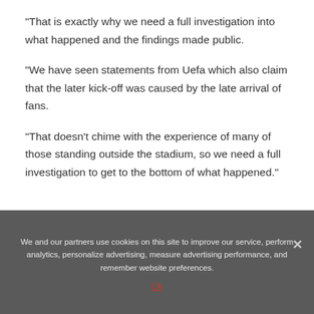“That is exactly why we need a full investigation into what happened and the findings made public.
“We have seen statements from Uefa which also claim that the later kick-off was caused by the late arrival of fans.
“That doesn’t chime with the experience of many of those standing outside the stadium, so we need a full investigation to get to the bottom of what happened.”
We and our partners use cookies on this site to improve our service, perform analytics, personalize advertising, measure advertising performance, and remember website preferences.
Ok